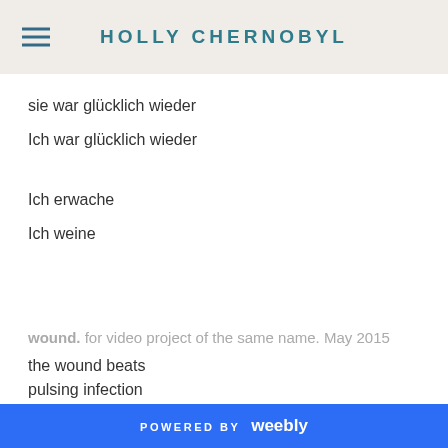HOLLY CHERNOBYL
sie war glücklich wieder
Ich war glücklich wieder
Ich erwache
Ich weine
wound. for video project of the same name. May 2015
the wound beats
pulsing infection
POWERED BY weebly